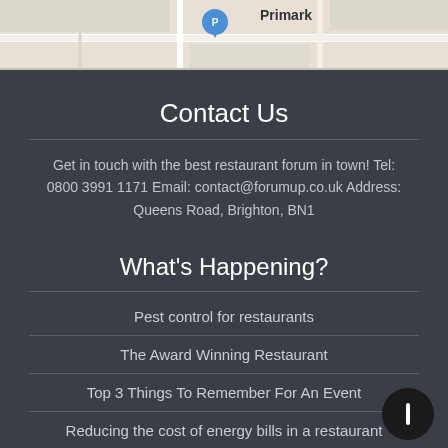[Figure (map): Partial map screenshot showing Primark location, a parking icon, and partial text 'Brigh' (Brighton), with map tiles in beige/grey tones.]
Contact Us
Get in touch with the best restaurant forum in town! Tel: 0800 3991 1171 Email: contact@forumup.co.uk Address: Queens Road, Brighton, BN1
What's Happening?
Pest control for restaurants
The Award Winning Restaurant
Top 3 Things To Remember For An Event
Reducing the cost of energy bills in a restaurant